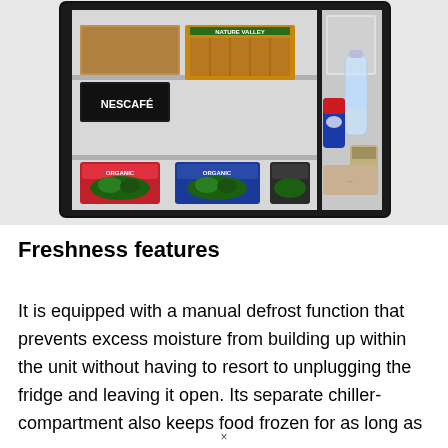[Figure (photo): Open mini refrigerator stocked with food items including Nescafé, Nature Valley granola bars, organic salad containers, Pepsi can, and a water bottle on the door shelf.]
Freshness features
It is equipped with a manual defrost function that prevents excess moisture from building up within the unit without having to resort to unplugging the fridge and leaving it open. Its separate chiller-compartment also keeps food frozen for as long as
×